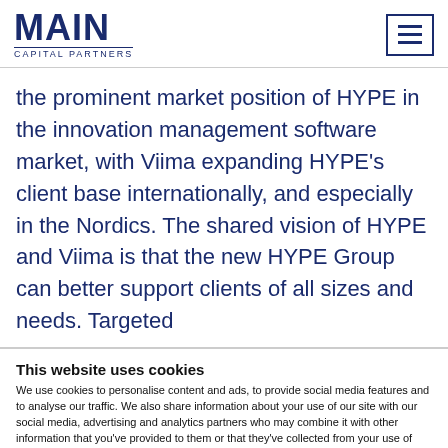MAIN CAPITAL PARTNERS
the prominent market position of HYPE in the innovation management software market, with Viima expanding HYPE’s client base internationally, and especially in the Nordics. The shared vision of HYPE and Viima is that the new HYPE Group can better support clients of all sizes and needs. Targeted
This website uses cookies
We use cookies to personalise content and ads, to provide social media features and to analyse our traffic. We also share information about your use of our site with our social media, advertising and analytics partners who may combine it with other information that you’ve provided to them or that they’ve collected from your use of their services.
Allow all cookies
Allow selection
Use necessary cookies only